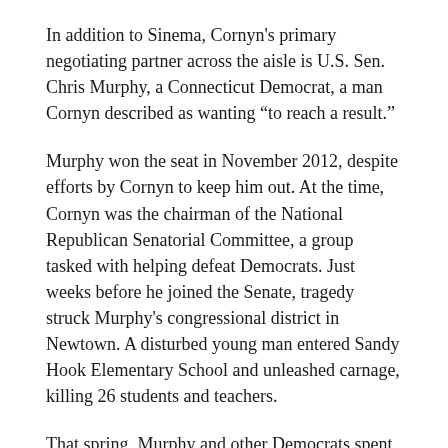In addition to Sinema, Cornyn's primary negotiating partner across the aisle is U.S. Sen. Chris Murphy, a Connecticut Democrat, a man Cornyn described as wanting “to reach a result.”
Murphy won the seat in November 2012, despite efforts by Cornyn to keep him out. At the time, Cornyn was the chairman of the National Republican Senatorial Committee, a group tasked with helping defeat Democrats. Just weeks before he joined the Senate, tragedy struck Murphy's congressional district in Newtown. A disturbed young man entered Sandy Hook Elementary School and unleashed carnage, killing 26 students and teachers.
That spring, Murphy and other Democrats spent all of their political capital pushing for expanded background checks. They failed so spectacularly to marshal the 60 votes needed to overcome a filibuster threat that the defeat melted into a sense of legislative hopelessness that any gun control measure could ever be passed. Cornyn was among the Republicans to vote against that measure.
For most of his 20 years in the Senate, Republicans like Cornyn